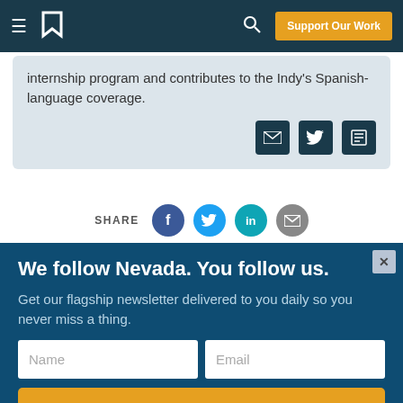Support Our Work
internship program and contributes to the Indy's Spanish-language coverage.
SHARE
We follow Nevada. You follow us.
Get our flagship newsletter delivered to you daily so you never miss a thing.
Yes! Sign Me Up
I am already a subscriber.